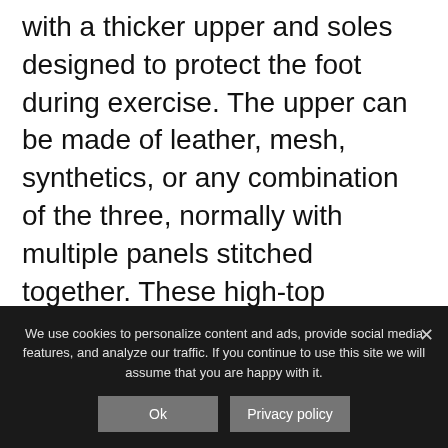with a thicker upper and soles designed to protect the foot during exercise. The upper can be made of leather, mesh, synthetics, or any combination of the three, normally with multiple panels stitched together. These high-top sneakers fit in well with other athleisure garments and can be worn during exercise or as part of one's street style.
Color
We use cookies to personalize content and ads, provide social media features, and analyze our traffic. If you continue to use this site we will assume that you are happy with it.